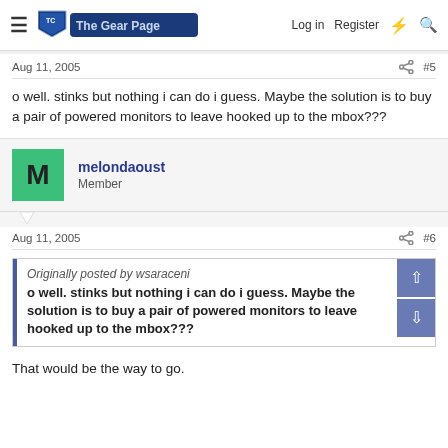The Gear Page — Log in  Register
Aug 11, 2005  #5
o well. stinks but nothing i can do i guess. Maybe the solution is to buy a pair of powered monitors to leave hooked up to the mbox???
melondaoust  Member
Aug 11, 2005  #6
Originally posted by wsaraceni
o well. stinks but nothing i can do i guess. Maybe the solution is to buy a pair of powered monitors to leave hooked up to the mbox???
That would be the way to go.